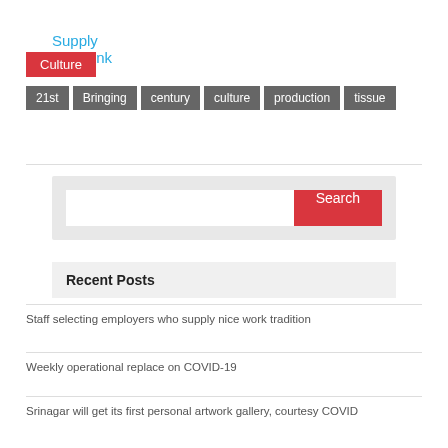Supply hyperlink
Culture
21st  Bringing  century  culture  production  tissue
[Figure (screenshot): Search bar with text input and red Search button on light gray background]
Recent Posts
Staff selecting employers who supply nice work tradition
Weekly operational replace on COVID-19
Srinagar will get its first personal artwork gallery, courtesy COVID